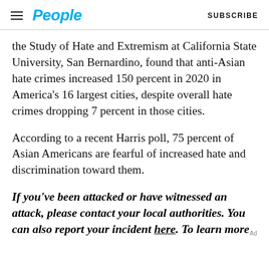People  SUBSCRIBE
the Study of Hate and Extremism at California State University, San Bernardino, found that anti-Asian hate crimes increased 150 percent in 2020 in America's 16 largest cities, despite overall hate crimes dropping 7 percent in those cities.
According to a recent Harris poll, 75 percent of Asian Americans are fearful of increased hate and discrimination toward them.
If you've been attacked or have witnessed an attack, please contact your local authorities. You can also report your incident here. To learn more